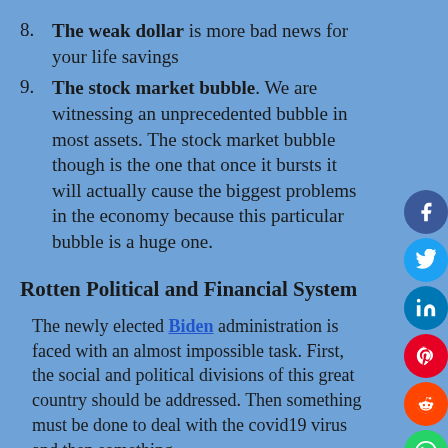8. The weak dollar is more bad news for your life savings
9. The stock market bubble. We are witnessing an unprecedented bubble in most assets. The stock market bubble though is the one that once it bursts it will actually cause the biggest problems in the economy because this particular bubble is a huge one.
Rotten Political and Financial System
The newly elected Biden administration is faced with an almost impossible task. First, the social and political divisions of this great country should be addressed. Then something must be done to deal with the covid19 virus and then something